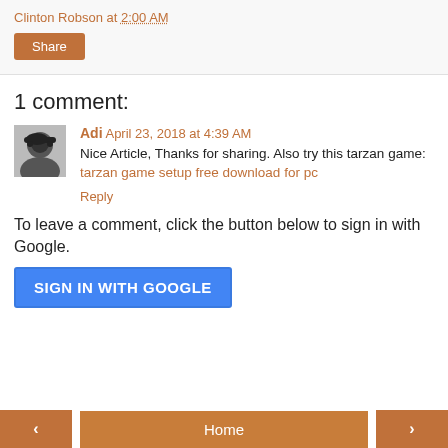Clinton Robson at 2:00 AM
Share
1 comment:
[Figure (photo): Avatar photo of Adi, a person wearing headphones]
Adi April 23, 2018 at 4:39 AM
Nice Article, Thanks for sharing. Also try this tarzan game: tarzan game setup free download for pc
Reply
To leave a comment, click the button below to sign in with Google.
SIGN IN WITH GOOGLE
< Home >